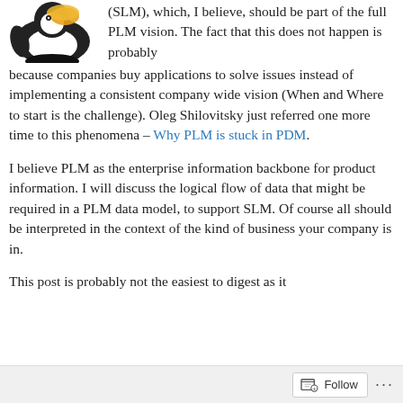[Figure (logo): A cartoon penguin/bird logo with white, black, and orange/yellow coloring, partially visible at top-left]
(SLM), which, I believe, should be part of the full PLM vision. The fact that this does not happen is probably because companies buy applications to solve issues instead of implementing a consistent company wide vision (When and Where to start is the challenge). Oleg Shilovitsky just referred one more time to this phenomena – Why PLM is stuck in PDM.
I believe PLM as the enterprise information backbone for product information. I will discuss the logical flow of data that might be required in a PLM data model, to support SLM. Of course all should be interpreted in the context of the kind of business your company is in.
This post is probably not the easiest to digest as it
Follow ···